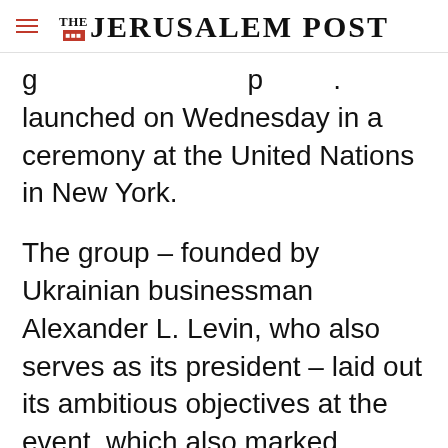THE JERUSALEM POST
g … p … launched on Wednesday in a ceremony at the United Nations in New York.
The group – founded by Ukrainian businessman Alexander L. Levin, who also serves as its president – laid out its ambitious objectives at the event, which also marked International Holocaust Day.
Advertisement